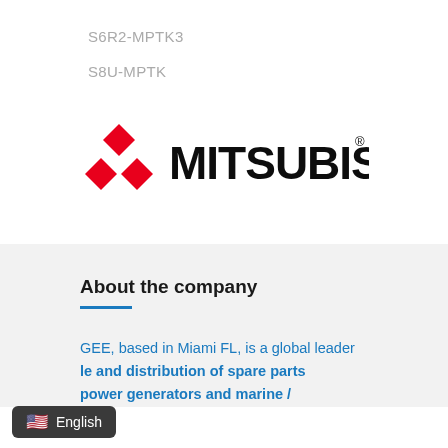S6R2-MPTK3
S8U-MPTK
[Figure (logo): Mitsubishi logo — red three-diamond symbol on left, MITSUBISHI bold black text on right with registered trademark symbol]
About the company
GEE, based in Miami FL, is a global leader le and distribution of spare parts power generators and marine /